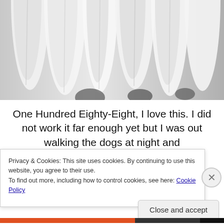[Figure (photo): Black and white photograph of ice formations or frozen stalactites hanging downward, with textured white and grey surfaces against a lighter background.]
One Hundred Eighty-Eight, I love this. I did not work it far enough yet but I was out walking the dogs at night and
Privacy & Cookies: This site uses cookies. By continuing to use this website, you agree to their use.
To find out more, including how to control cookies, see here: Cookie Policy
Close and accept